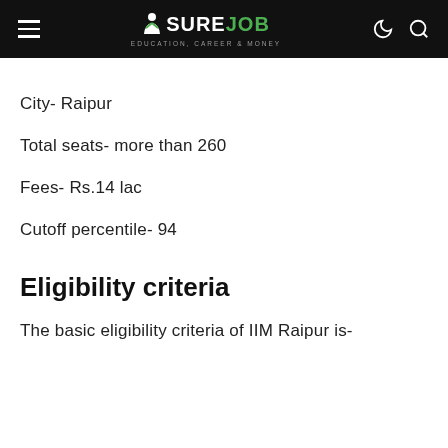Sure Job - Education, Career & Money
City- Raipur
Total seats- more than 260
Fees- Rs.14 lac
Cutoff percentile- 94
Eligibility criteria
The basic eligibility criteria of IIM Raipur is-